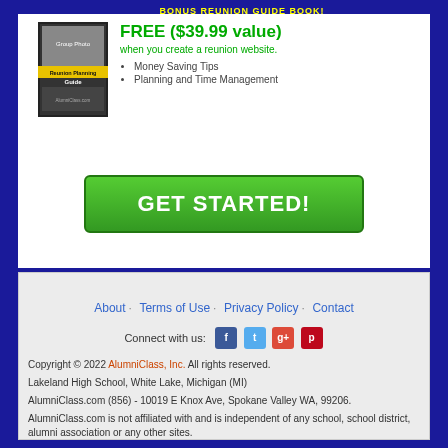[Figure (screenshot): Reunion Planning Guide book cover with group photo]
FREE ($39.99 value)
when you create a reunion website.
• Money Saving Tips
• Planning and Time Management
[Figure (other): GET STARTED! green button]
About · Terms of Use · Privacy Policy · Contact
Connect with us: [Facebook] [Twitter] [Google+] [Pinterest]
Copyright © 2022 AlumniClass, Inc. All rights reserved.
Lakeland High School, White Lake, Michigan (MI)
AlumniClass.com (856) - 10019 E Knox Ave, Spokane Valley WA, 99206.
AlumniClass.com is not affiliated with and is independent of any school, school district, alumni association or any other sites.